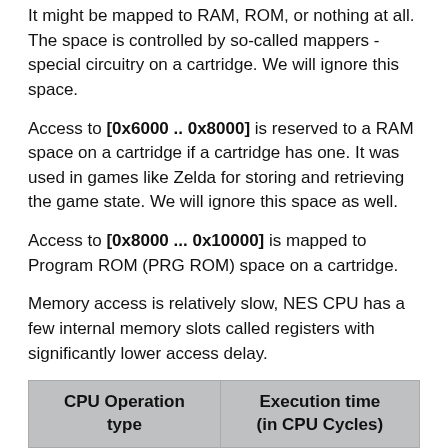It might be mapped to RAM, ROM, or nothing at all. The space is controlled by so-called mappers - special circuitry on a cartridge. We will ignore this space.
Access to [0x6000 .. 0x8000] is reserved to a RAM space on a cartridge if a cartridge has one. It was used in games like Zelda for storing and retrieving the game state. We will ignore this space as well.
Access to [0x8000 ... 0x10000] is mapped to Program ROM (PRG ROM) space on a cartridge.
Memory access is relatively slow, NES CPU has a few internal memory slots called registers with significantly lower access delay.
| CPU Operation type | Execution time (in CPU Cycles) |
| --- | --- |
| Accessing only registers | 2 |